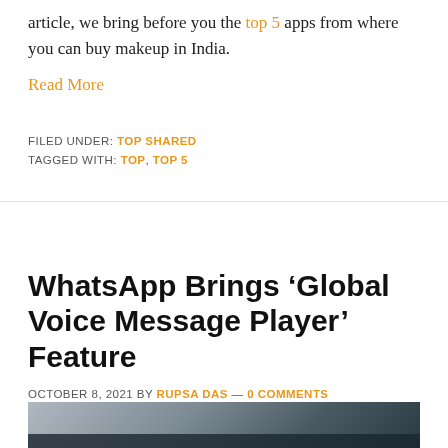article, we bring before you the top 5 apps from where you can buy makeup in India.
Read More
FILED UNDER: TOP SHARED
TAGGED WITH: TOP, TOP 5
WhatsApp Brings ‘Global Voice Message Player’ Feature
OCTOBER 8, 2021 BY RUPSA DAS — 0 COMMENTS
[Figure (photo): Photo of a Samsung smartphone, partially visible at the bottom of the page]